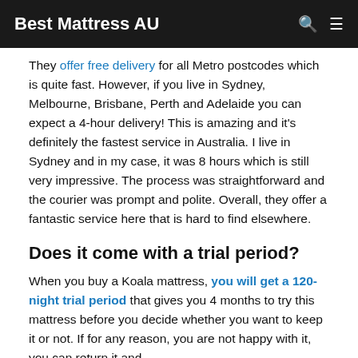Best Mattress AU
They offer free delivery for all Metro postcodes which is quite fast. However, if you live in Sydney, Melbourne, Brisbane, Perth and Adelaide you can expect a 4-hour delivery! This is amazing and it's definitely the fastest service in Australia. I live in Sydney and in my case, it was 8 hours which is still very impressive. The process was straightforward and the courier was prompt and polite. Overall, they offer a fantastic service here that is hard to find elsewhere.
Does it come with a trial period?
When you buy a Koala mattress, you will get a 120-night trial period that gives you 4 months to try this mattress before you decide whether you want to keep it or not. If for any reason, you are not happy with it, you can return it and